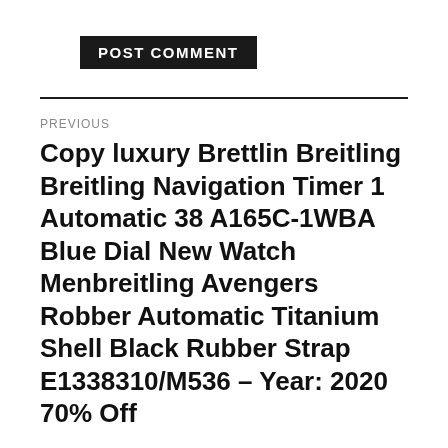POST COMMENT
PREVIOUS
Copy luxury Brettlin Breitling Breitling Navigation Timer 1 Automatic 38 A165C-1WBA Blue Dial New Watch Menbreitling Avengers Robber Automatic Titanium Shell Black Rubber Strap E1338310/M536 – Year: 2020 70% Off